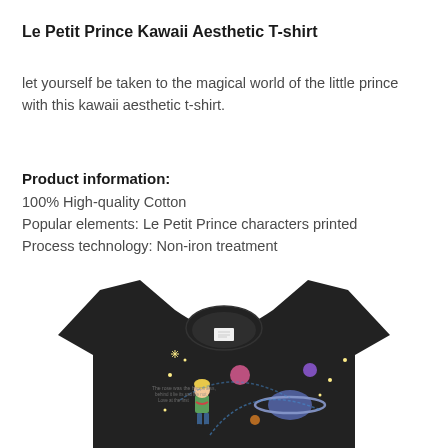Le Petit Prince Kawaii Aesthetic T-shirt
let yourself be taken to the magical world of the little prince with this kawaii aesthetic t-shirt.
Product information:
100% High-quality Cotton
Popular elements: Le Petit Prince characters printed
Process technology: Non-iron treatment
[Figure (photo): Black t-shirt with Le Petit Prince kawaii character design showing the Little Prince among planets and stars on a dark background]